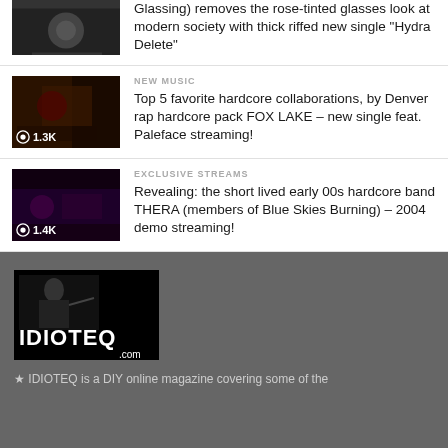[Figure (photo): Partial thumbnail image at top, dark tones]
Glassing) removes the rose-tinted glasses look at modern society with thick riffed new single “Hydra Delete”
[Figure (photo): Dark band/music thumbnail with eye icon and 1.3K view count]
NEW MUSIC
Top 5 favorite hardcore collaborations, by Denver rap hardcore pack FOX LAKE – new single feat. Paleface streaming!
[Figure (photo): Dark band/music thumbnail with eye icon and 1.4K view count]
EXCLUSIVE STREAMS
Revealing: the short lived early 00s hardcore band THERA (members of Blue Skies Burning) – 2004 demo streaming!
[Figure (logo): IDIOTEQ.com logo, black background with illustrated character]
★ IDIOTEQ is a DIY online magazine covering some of the